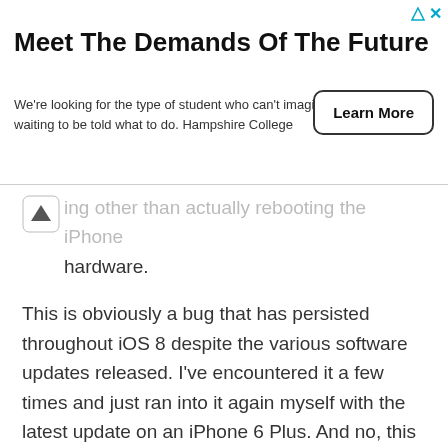[Figure (other): Advertisement banner for Hampshire College with title 'Meet The Demands Of The Future', body text about student type, and a 'Learn More' button.]
ing other than actually rebooting the iPhone hardware.
This is obviously a bug that has persisted throughout iOS 8 despite the various software updates released. I've encountered it a few times and just ran into it again myself with the latest update on an iPhone 6 Plus. And no, this is not the same bug as the Health app Dashboard not updating with or after activity, which happens sometimes too and can typically be resolved by quitting and re-opening Health app.
By the way, if you have a new iPhone and you are not yet tracking your steps, mileage moved, and some general